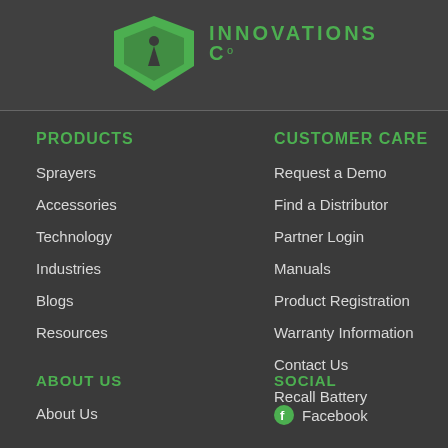[Figure (logo): Green shield logo with text INNOVATIONS CO]
PRODUCTS
Sprayers
Accessories
Technology
Industries
Blogs
Resources
CUSTOMER CARE
Request a Demo
Find a Distributor
Partner Login
Manuals
Product Registration
Warranty Information
Contact Us
Recall Battery
ABOUT US
About Us
SOCIAL
Facebook